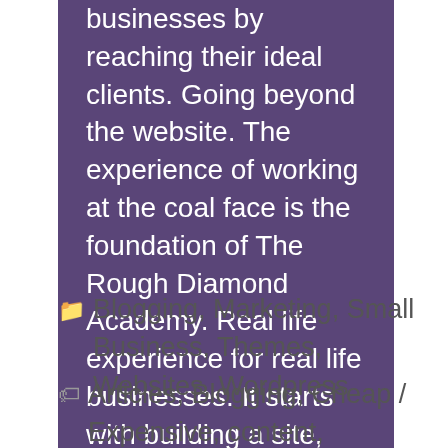businesses by reaching their ideal clients. Going beyond the website. The experience of working at the coal face is the foundation of The Rough Diamond Academy. Real life experience for real life businesses. It starts with building a site, but that's only the beginning!
Blogging, Marketing, Small Business, Themes, Websites, Wordpress
Articles, Blogging, Cheap / Expensive, content, Marketing, page builder, Small Business, value, Web Skills, wordpress